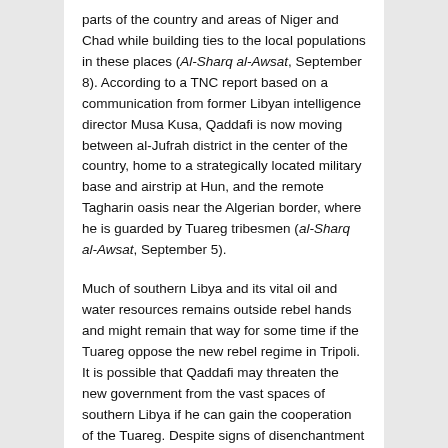parts of the country and areas of Niger and Chad while building ties to the local populations in these places (Al-Sharq al-Awsat, September 8). According to a TNC report based on a communication from former Libyan intelligence director Musa Kusa, Qaddafi is now moving between al-Jufrah district in the center of the country, home to a strategically located military base and airstrip at Hun, and the remote Tagharin oasis near the Algerian border, where he is guarded by Tuareg tribesmen (al-Sharq al-Awsat, September 5).
Much of southern Libya and its vital oil and water resources remains outside rebel hands and might remain that way for some time if the Tuareg oppose the new rebel regime in Tripoli. It is possible that Qaddafi may threaten the new government from the vast spaces of southern Libya if he can gain the cooperation of the Tuareg. Despite signs of disenchantment with Qaddafi among the Tuareg tribesmen, there is still the lure presented by the vast sums of cash and gold loyalist forces appear to have moved south on behalf of Qaddafi, who has always